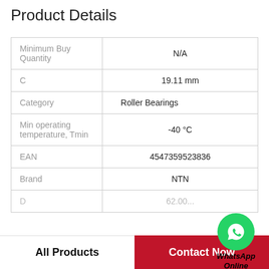Product Details
|  |  |
| --- | --- |
| Minimum Buy Quantity | N/A |
| C | 19.11 mm |
| Category | Roller Bearings |
| Min operating temperature, Tmin | -40 °C |
| EAN | 4547359523836 |
| Brand | NTN |
| D | 62.00... |
[Figure (logo): WhatsApp Online green phone icon with text WhatsApp Online]
All Products
Contact Now